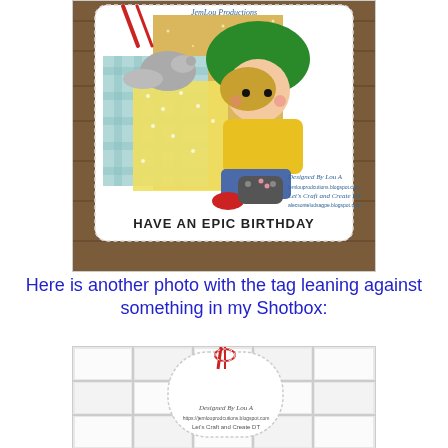[Figure (photo): A handmade birthday card featuring a cartoon boy wearing a green beret hat and yellow sweater, sitting and holding a game controller. The card has patterned paper background and reads 'HAVE AN EPIC BIRTHDAY'. Watermark reads 'JemLou Productions' and 'Designed By Lou A, Let's Craft and Create DT'.]
Here is another photo with the tag leaning against something in my Shotbox:
[Figure (photo): A close-up photo of a handmade gift tag leaning against a white tile background. The tag has a red and white striped twine tie at the top. The bottom of the tag shows a watermark 'Designed By Lou A, https://jemlouprodcutions.blogspot.com, Let's Craft and Create DT'.]